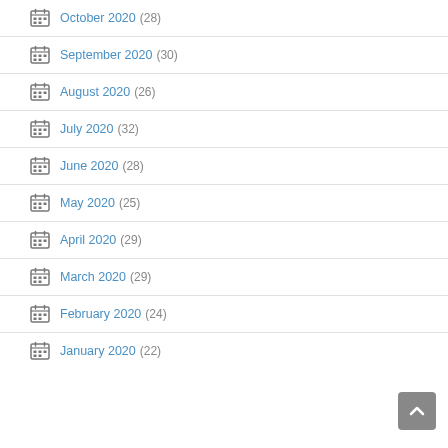October 2020 (28)
September 2020 (30)
August 2020 (26)
July 2020 (32)
June 2020 (28)
May 2020 (25)
April 2020 (29)
March 2020 (29)
February 2020 (24)
January 2020 (22)